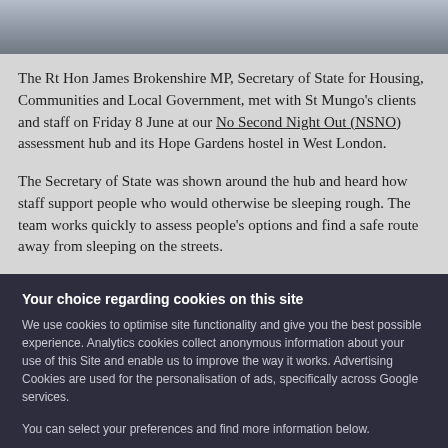[Figure (photo): Partial photo showing group of people, cropped at bottom of image strip]
The Rt Hon James Brokenshire MP, Secretary of State for Housing, Communities and Local Government, met with St Mungo's clients and staff on Friday 8 June at our No Second Night Out (NSNO) assessment hub and its Hope Gardens hostel in West London.
The Secretary of State was shown around the hub and heard how staff support people who would otherwise be sleeping rough. The team works quickly to assess people's options and find a safe route away from sleeping on the streets.
Your choice regarding cookies on this site
We use cookies to optimise site functionality and give you the best possible experience. Analytics cookies collect anonymous information about your use of this Site and enable us to improve the way it works. Advertising Cookies are used for the personalisation of ads, specifically across Google services.

You can select your preferences and find more information below.